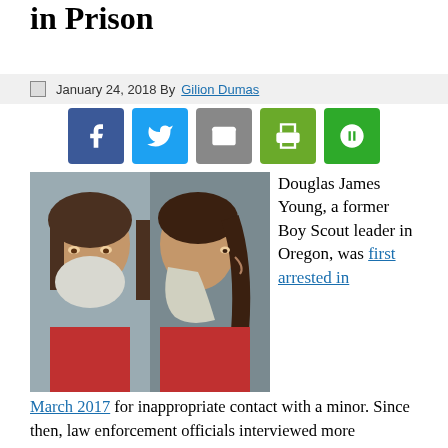in Prison
January 24, 2018 By Gilion Dumas
[Figure (other): Social media share buttons: Facebook, Twitter, Email, Print, Share]
[Figure (photo): Mugshot photos of Douglas James Young, front and side profile views]
Douglas James Young, a former Boy Scout leader in Oregon, was first arrested in March 2017 for inappropriate contact with a minor. Since then, law enforcement officials interviewed more witnesses and the charges grew.